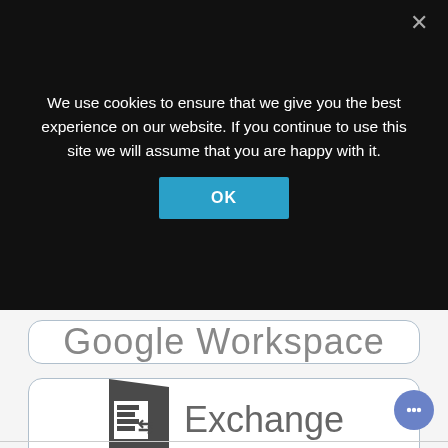We use cookies to ensure that we give you the best experience on our website. If you continue to use this site we will assume that you are happy with it.
[Figure (screenshot): Cookie consent banner with OK button on dark background, overlaying a page with Google Workspace and Exchange logo cards]
[Figure (logo): Google Workspace logo in a rounded rectangle card]
[Figure (logo): Microsoft Exchange logo (E icon with arrows) and text in a rounded rectangle card]